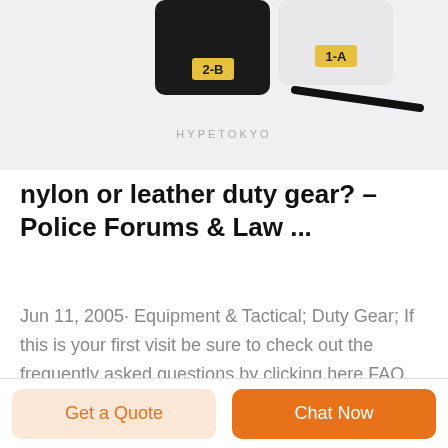[Figure (photo): Product image showing pencils or styluses with labels '2-B' and '1-A', with a dark diagonal object below, and watermark text 'HYPETOKYO' at the bottom of the image area.]
nylon or leather duty gear? – Police Forums & Law ...
Jun 11, 2005· Equipment & Tactical; Duty Gear; If this is your first visit be sure to check out the frequently asked questions by clicking here FAQ. You must be registered, logged in and approved before you can post. Posting approval may take a few business days. To start viewing messages, select the forum that you want to visit from the